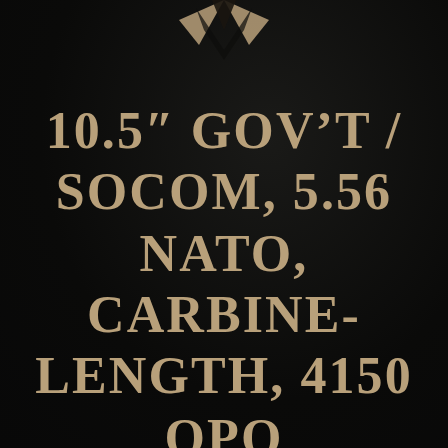[Figure (logo): Partial logo or emblem visible at top center of page, gold/dark coloring, partially cropped]
10.5" GOV'T / SOCOM, 5.56 NATO, CARBINE-LENGTH, 4150 QPQ